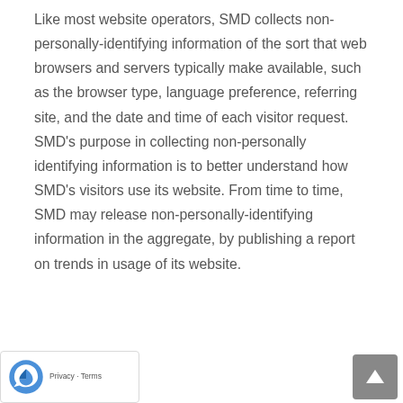Like most website operators, SMD collects non-personally-identifying information of the sort that web browsers and servers typically make available, such as the browser type, language preference, referring site, and the date and time of each visitor request. SMD's purpose in collecting non-personally identifying information is to better understand how SMD's visitors use its website. From time to time, SMD may release non-personally-identifying information in the aggregate, by publishing a report on trends in usage of its website.